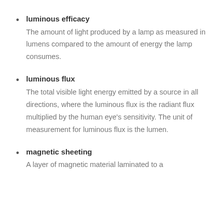luminous efficacy — The amount of light produced by a lamp as measured in lumens compared to the amount of energy the lamp consumes.
luminous flux — The total visible light energy emitted by a source in all directions, where the luminous flux is the radiant flux multiplied by the human eye's sensitivity. The unit of measurement for luminous flux is the lumen.
magnetic sheeting — A layer of magnetic material laminated to a